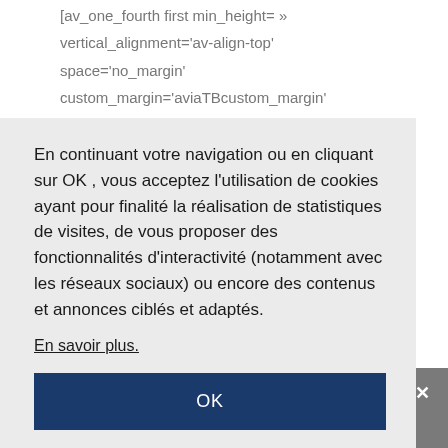[av_one_fourth first min_height= »
vertical_alignment='av-align-top'
space='no_margin'
custom_margin='aviaTBcustom_margin'
margin='0px 10px' padding='10px'
En continuant votre navigation ou en cliquant sur OK , vous acceptez l'utilisation de cookies ayant pour finalité la réalisation de statistiques de visites, de vous proposer des fonctionnalités d'interactivité (notamment avec les réseaux sociaux) ou encore des contenus et annonces ciblés et adaptés.
En savoir plus.
OK
Partager
link='manually,https://davidlaroche.fr/liberer-